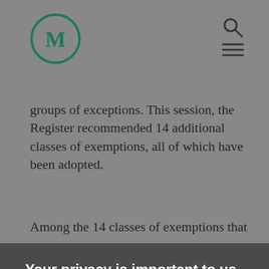M (logo) with search and menu icons
groups of exceptions. This session, the Register recommended 14 additional classes of exemptions, all of which have been adopted.
Among the 14 classes of exemptions that were
Your privacy is important to us.
We use cookies to ensure the performance and security of our website, and, where permitted, to monitor website use and usability for business and website optimization purposes. For further information on the cookies we use, please click on "Cookie Settings". You can adjust your cookie settings at any time by selecting "Cookie Settings" in the footer of the website.
Cookie Settings
Accept All Cookies